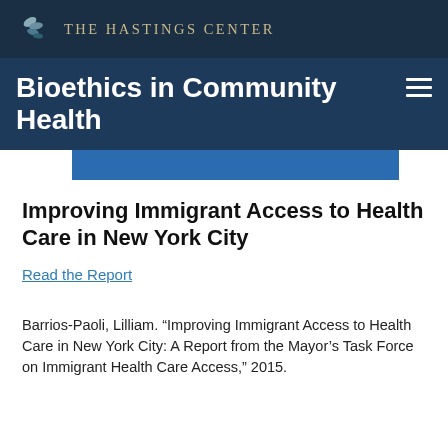THE HASTINGS CENTER
Bioethics in Community Health
Improving Immigrant Access to Health Care in New York City
Read the Report
Barrios-Paoli, Lilliam. “Improving Immigrant Access to Health Care in New York City: A Report from the Mayor’s Task Force on Immigrant Health Care Access,” 2015.